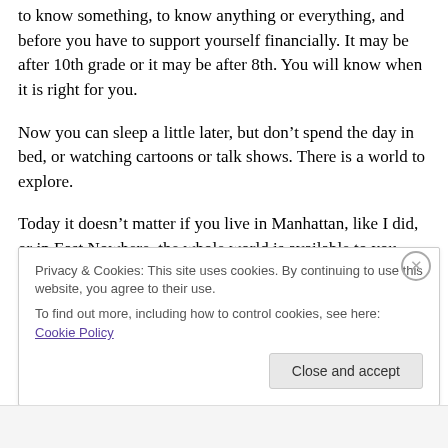to know something, to know anything or everything, and before you have to support yourself financially. It may be after 10th grade or it may be after 8th. You will know when it is right for you.
Now you can sleep a little later, but don’t spend the day in bed, or watching cartoons or talk shows. There is a world to explore.
Today it doesn’t matter if you live in Manhattan, like I did, or in East Nowhere, the whole world is available to you.
Privacy & Cookies: This site uses cookies. By continuing to use this website, you agree to their use. To find out more, including how to control cookies, see here: Cookie Policy